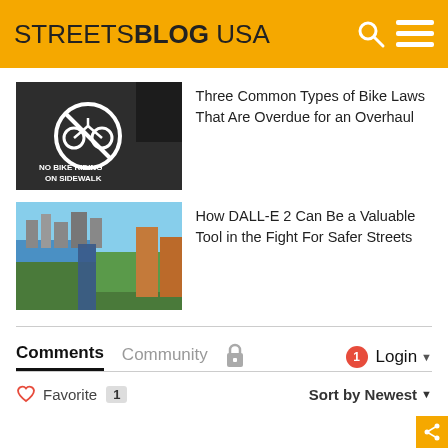STREETSBLOG USA
Three Common Types of Bike Laws That Are Overdue for an Overhaul
How DALL-E 2 Can Be a Valuable Tool in the Fight For Safer Streets
Comments  Community  Login
Favorite 1  Sort by Newest